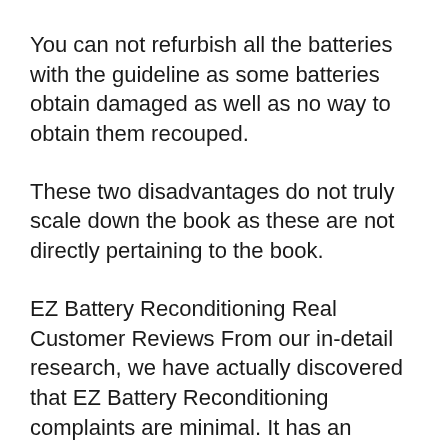You can not refurbish all the batteries with the guideline as some batteries obtain damaged as well as no way to obtain them recouped.
These two disadvantages do not truly scale down the book as these are not directly pertaining to the book.
EZ Battery Reconditioning Real Customer Reviews From our in-detail research, we have actually discovered that EZ Battery Reconditioning complaints are minimal. It has an immense quantity of favorable evaluations, which makes it worth attempting. Numerous clients are saving countless dollars. Nearly all the individuals